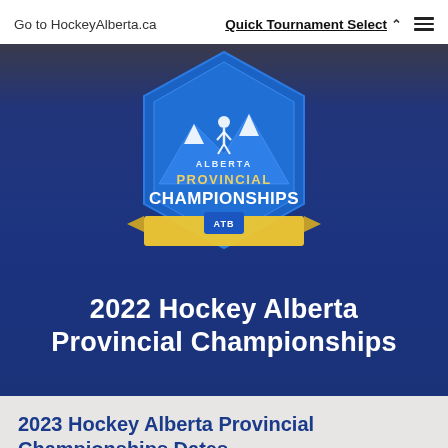Go to HockeyAlberta.ca    Quick Tournament Select
[Figure (logo): Hockey Alberta Provincial Championships logo with ATB sponsor badge, circular blue badge design with mountain silhouette and hockey player]
2022 Hockey Alberta Provincial Championships
2023 Hockey Alberta Provincial Championships Dates